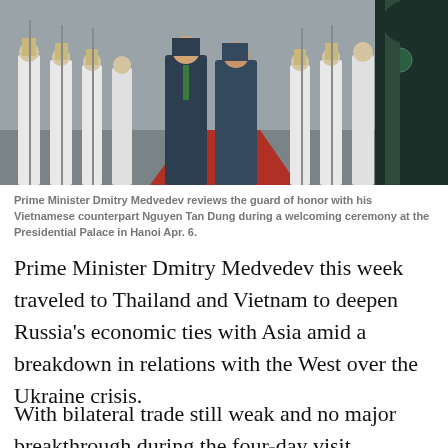[Figure (photo): Prime Minister Dmitry Medvedev and Vietnamese counterpart Nguyen Tan Dung walking on a red carpet reviewing an honor guard in white uniforms at the Presidential Palace in Hanoi. A figure in dark military uniform is prominently visible on the right side.]
Prime Minister Dmitry Medvedev reviews the guard of honor with his Vietnamese counterpart Nguyen Tan Dung during a welcoming ceremony at the Presidential Palace in Hanoi Apr. 6.
Prime Minister Dmitry Medvedev this week traveled to Thailand and Vietnam to deepen Russia's economic ties with Asia amid a breakdown in relations with the West over the Ukraine crisis.
With bilateral trade still weak and no major breakthrough during the four-day visit, Medvedev's